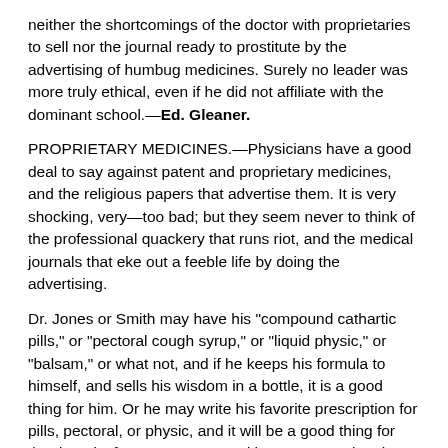neither the shortcomings of the doctor with proprietaries to sell nor the journal ready to prostitute by the advertising of humbug medicines. Surely no leader was more truly ethical, even if he did not affiliate with the dominant school.—Ed. Gleaner.
PROPRIETARY MEDICINES.—Physicians have a good deal to say against patent and proprietary medicines, and the religious papers that advertise them. It is very shocking, very—too bad; but they seem never to think of the professional quackery that runs riot, and the medical journals that eke out a feeble life by doing the advertising.
Dr. Jones or Smith may have his "compound cathartic pills," or "pectoral cough syrup," or "liquid physic," or "balsam," or what not, and if he keeps his formula to himself, and sells his wisdom in a bottle, it is a good thing for him. Or he may write his favorite prescription for pills, pectoral, or physic, and it will be a good thing for the druggist for many years, and by many people. These are common methods of doing a nostrum business.
Our principal nostrum mongers are pharmacists and druggists, who are always devising things for the benefit of the "busy practitioner." They make things enticing by bottle, label, or box, talk about "elegant pharmacals," get numerous certificates,